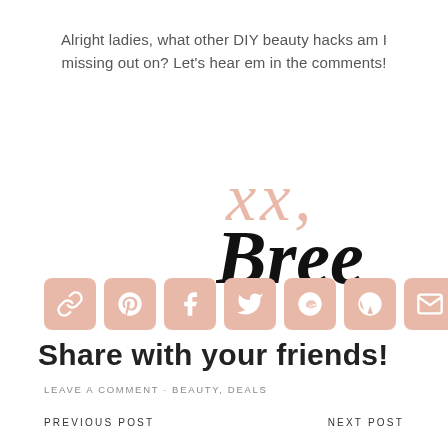Alright ladies, what other DIY beauty hacks am I missing out on?  Let's hear em in the comments!
[Figure (illustration): Handwritten signature reading 'xx, Bree' in script — 'xx,' in salmon/peach color, 'Bree' in bold black italic]
[Figure (infographic): Row of 7 social sharing icon buttons with salmon/peach rounded square backgrounds: link, Pinterest, Facebook, Twitter, Reddit, WordPress, Email]
Share with your friends!
LEAVE A COMMENT · BEAUTY, DEALS
PREVIOUS POST    NEXT POST